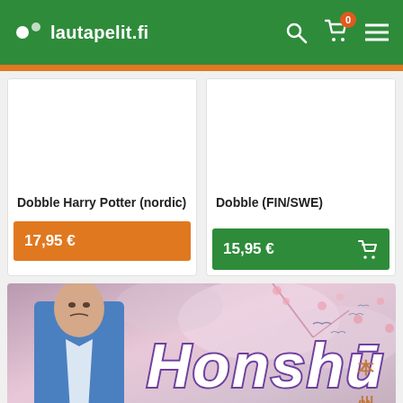lautapelit.fi
[Figure (screenshot): Product card for Dobble Harry Potter (nordic) with price 17,95 €]
Dobble Harry Potter (nordic)
17,95 €
[Figure (screenshot): Product card for Dobble (FIN/SWE) with price 15,95 €]
Dobble (FIN/SWE)
15,95 €
[Figure (photo): Honshu board game banner showing a man in a blue jacket and Japanese-themed artwork with cherry blossoms and birds, with the Honshu logo in purple and white text]